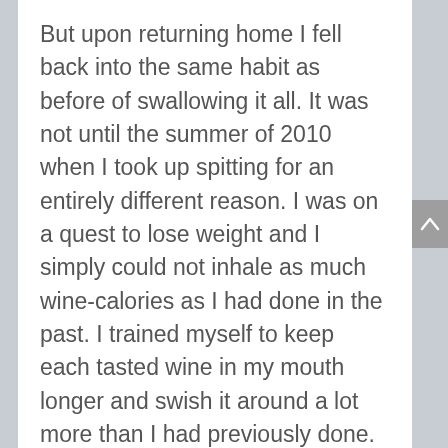But upon returning home I fell back into the same habit as before of swallowing it all. It was not until the summer of 2010 when I took up spitting for an entirely different reason. I was on a quest to lose weight and I simply could not inhale as much wine-calories as I had done in the past. I trained myself to keep each tasted wine in my mouth longer and swish it around a lot more than I had previously done. This way, when I spit, I actually did have a finish lingering in my mouth, as well as a sense of the alcohol content, most often more easily determined as the wine rolls down your throat. Once I got into the habit, I soon discovered what